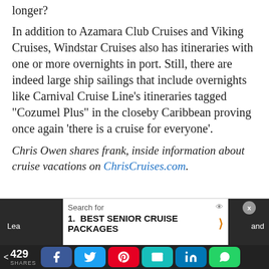longer?
In addition to Azamara Club Cruises and Viking Cruises, Windstar Cruises also has itineraries with one or more overnights in port. Still, there are indeed large ship sailings that include overnights like Carnival Cruise Line’s itineraries tagged “Cozumel Plus” in the closeby Caribbean proving once again ‘there is a cruise for everyone’.
Chris Owen shares frank, inside information about cruise vacations on ChrisCruises.com.
Search for
1. BEST SENIOR CRUISE PACKAGES
< 429 SHARES